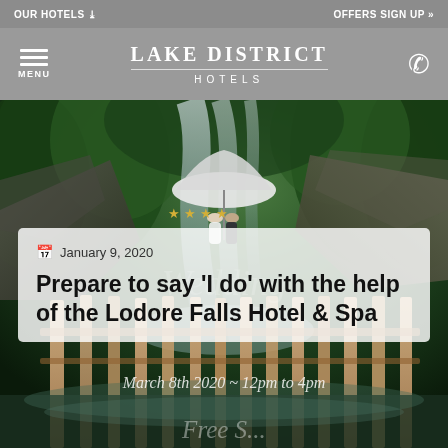OUR HOTELS ❯
OFFERS SIGN UP ❯❯
LAKE DISTRICT HOTELS
[Figure (photo): A couple under a white umbrella standing near a waterfall surrounded by lush green forest. Wooden fence posts visible in the foreground. Stars rating overlay.]
January 9, 2020
Prepare to say 'I do' with the help of the Lodore Falls Hotel & Spa
March 8th 2020 ~ 12pm to 4pm